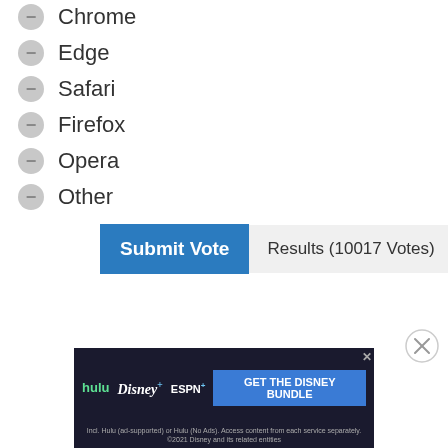Chrome
Edge
Safari
Firefox
Opera
Other
Submit Vote | Results (10017 Votes)
[Figure (screenshot): Close button circle with X]
[Figure (screenshot): Disney Bundle advertisement banner with Hulu, Disney+, ESPN+ logos and GET THE DISNEY BUNDLE button]